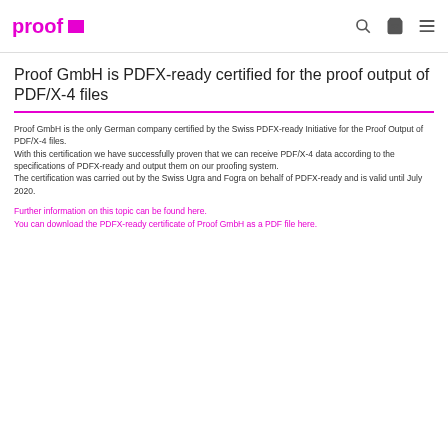proof [logo]
Proof GmbH is PDFX-ready certified for the proof output of PDF/X-4 files
Proof GmbH is the only German company certified by the Swiss PDFX-ready Initiative for the Proof Output of PDF/X-4 files.
With this certification we have successfully proven that we can receive PDF/X-4 data according to the specifications of PDFX-ready and output them on our proofing system.
The certification was carried out by the Swiss Ugra and Fogra on behalf of PDFX-ready and is valid until July 2020.
Further information on this topic can be found here.
You can download the PDFX-ready certificate of Proof GmbH as a PDF file here.